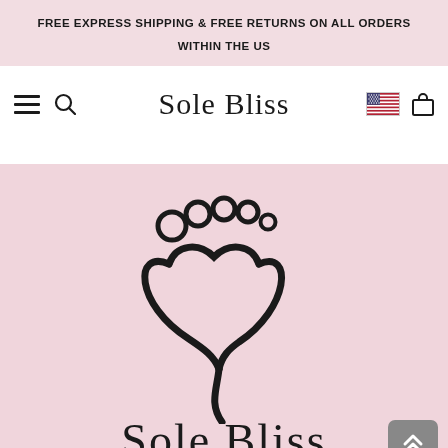FREE EXPRESS SHIPPING & FREE RETURNS ON ALL ORDERS WITHIN THE US
Sole Bliss
[Figure (logo): Sole Bliss logo: a foot-shaped heart design with toe circles above, and the text 'Sole Bliss' below, on a pink background]
[Figure (logo): US flag icon in the navigation bar]
[Figure (illustration): Scroll-to-top button with double chevron arrows, gray rounded rectangle]